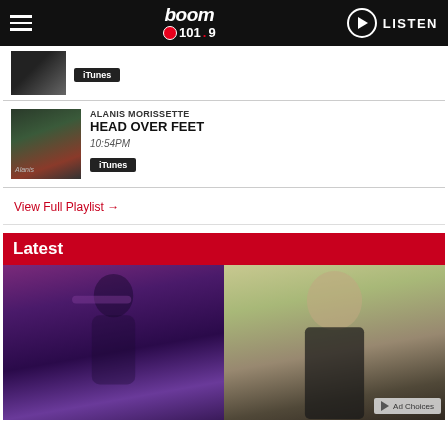boom 101.9 | LISTEN
[Figure (screenshot): Album art thumbnail at top of playlist]
iTunes
ALANIS MORISSETTE
HEAD OVER FEET
10:54PM
[Figure (photo): Alanis Morissette album art thumbnail]
iTunes
View Full Playlist →
Latest
[Figure (photo): Two side-by-side photos: left shows a woman dancing in purple light, right shows a woman outdoors in natural light. Ad Choices label in bottom right corner.]